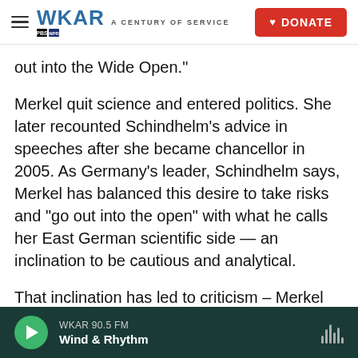WKAR A CENTURY OF SERVICE | DONATE
out into the Wide Open."
Merkel quit science and entered politics. She later recounted Schindhelm's advice in speeches after she became chancellor in 2005. As Germany's leader, Schindhelm says, Merkel has balanced this desire to take risks and "go out into the open" with what he calls her East German scientific side — an inclination to be cautious and analytical.
That inclination has led to criticism – Merkel has been slammed for being too cautious, and for a lack of drive and ambition while planning
WKAR 90.5 FM | Wind & Rhythm